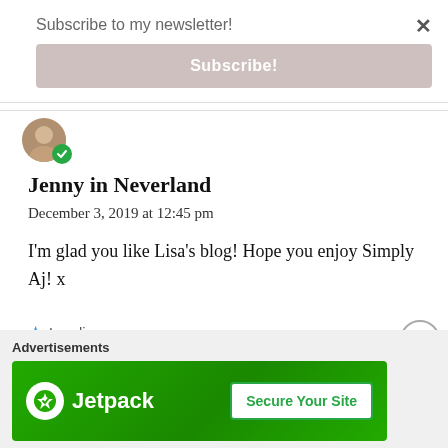Subscribe to my newsletter!
Subscribe!
[Figure (illustration): User avatar with green verified badge checkmark]
Jenny in Neverland
December 3, 2019 at 12:45 pm
I'm glad you like Lisa's blog! Hope you enjoy Simply Aj! x
Loading...
REPLY
Advertisements
[Figure (logo): Jetpack advertisement banner with green background showing Jetpack logo and 'Secure Your Site' button]